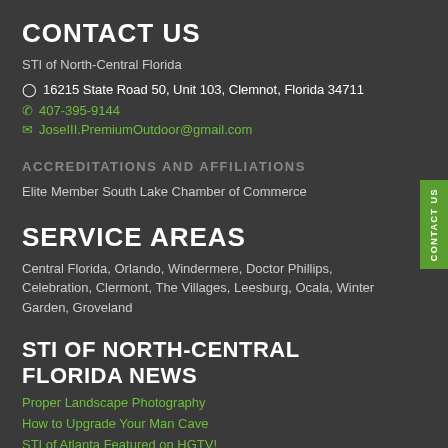CONTACT US
STI of North-Central Florida
16215 State Road 50, Unit 103, Clemnot, Florida 34711
407-395-9144
JoseIII.PremiumOutdoor@gmail.com
ACCREDITATIONS AND AFFILIATIONS
Elite Member South Lake Chamber of Commerce
SERVICE AREAS
Central Florida, Orlando, Windermere, Doctor Phillips, Celebration, Clermont, The Villages, Leesburg, Ocala, Winter Garden, Groveland
STI OF NORTH-CENTRAL FLORIDA NEWS
Proper Landscape Photography
How to Upgrade Your Man Cave
STI of Atlanta Featured on HGTV!